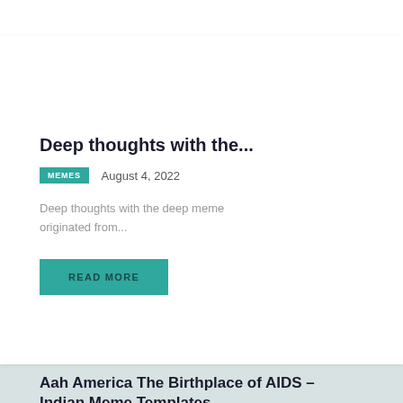Deep thoughts with the...
MEMES   August 4, 2022
Deep thoughts with the deep meme originated from...
READ MORE
Aah America The Birthplace of AIDS – Indian Meme Templates
“Aah America The Birthplace of AIDS” is a two panel meme that originated from a funny quote from the 2012 Hollywood dark comedy...